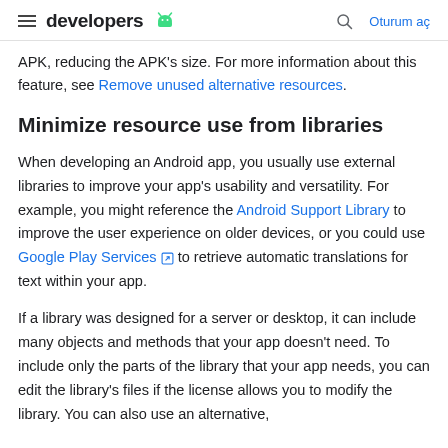developers [Android logo] | [search] Oturum aç
APK, reducing the APK's size. For more information about this feature, see Remove unused alternative resources.
Minimize resource use from libraries
When developing an Android app, you usually use external libraries to improve your app's usability and versatility. For example, you might reference the Android Support Library to improve the user experience on older devices, or you could use Google Play Services [external link icon] to retrieve automatic translations for text within your app.
If a library was designed for a server or desktop, it can include many objects and methods that your app doesn't need. To include only the parts of the library that your app needs, you can edit the library's files if the license allows you to modify the library. You can also use an alternative,